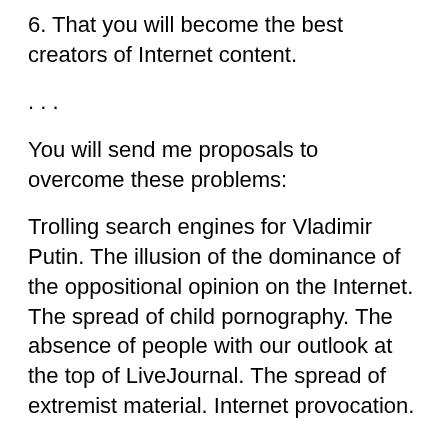6. That you will become the best creators of Internet content.
. . .
You will send me proposals to overcome these problems:
Trolling search engines for Vladimir Putin. The illusion of the dominance of the oppositional opinion on the Internet. The spread of child pornography. The absence of people with our outlook at the top of LiveJournal. The spread of extremist material. Internet provocation.